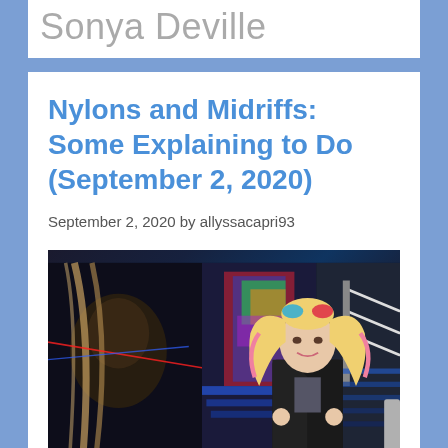Sonya Deville
Nylons and Midriffs: Some Explaining to Do (September 2, 2020)
September 2, 2020 by allyssacapri93
[Figure (photo): WWE arena photograph showing a blonde female wrestler in a black leather jacket with pink hair highlights in twin tails, standing in front of a wrestling ring with colorful arena backdrop and laser lights; a figure visible on a screen in the background]